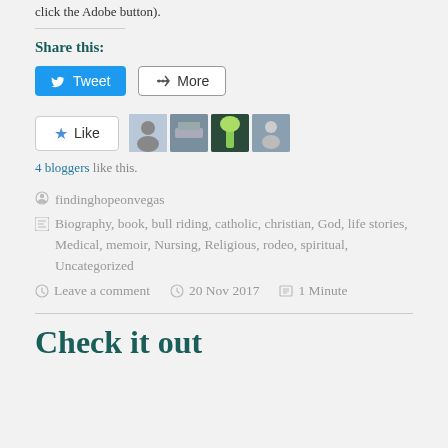click the Adobe button).
Share this:
Tweet  More
[Figure (other): Like button with star icon and 4 blogger avatars]
4 bloggers like this.
findinghopeonvegas
Biography, book, bull riding, catholic, christian, God, life stories, Medical, memoir, Nursing, Religious, rodeo, spiritual, Uncategorized
Leave a comment   20 Nov 2017   1 Minute
Check it out